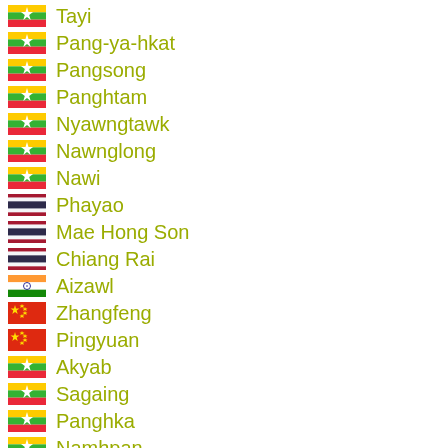Tayi
Pang-ya-hkat
Pangsong
Panghtam
Nyawngtawk
Nawnglong
Nawi
Phayao
Mae Hong Son
Chiang Rai
Aizawl
Zhangfeng
Pingyuan
Akyab
Sagaing
Panghka
Namhpan
Nalaw
Mong Pai